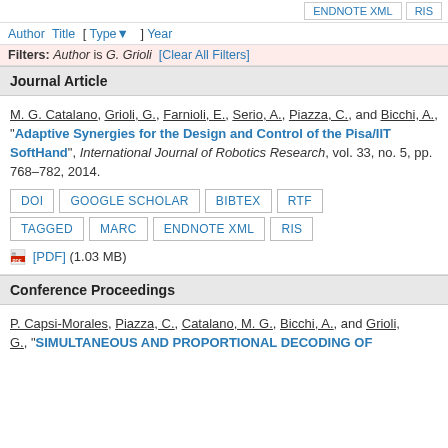ENDNOTE XML   RIS
Author Title [ Type▼ ] Year
Filters: Author is G. Grioli  [Clear All Filters]
Journal Article
M. G. Catalano, Grioli, G., Farnioli, E., Serio, A., Piazza, C., and Bicchi, A., "Adaptive Synergies for the Design and Control of the Pisa/IIT SoftHand", International Journal of Robotics Research, vol. 33, no. 5, pp. 768–782, 2014.
DOI  GOOGLE SCHOLAR  BIBTEX  RTF  TAGGED  MARC  ENDNOTE XML  RIS
[PDF] (1.03 MB)
Conference Proceedings
P. Capsi-Morales, Piazza, C., Catalano, M. G., Bicchi, A., and Grioli, G., "SIMULTANEOUS AND PROPORTIONAL DECODING OF